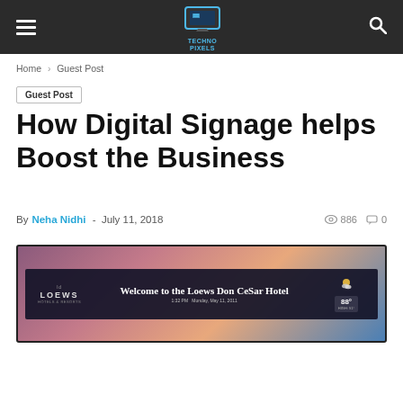Navigation bar with hamburger menu, site logo, and search icon
Home › Guest Post
Guest Post
How Digital Signage helps Boost the Business
By Neha Nidhi - July 11, 2018  886  0
[Figure (photo): Digital signage display at the Loews Don CeSar Hotel showing a welcome message, hotel logo, date/time, and weather widget on a dark bar overlay against a colorful background]